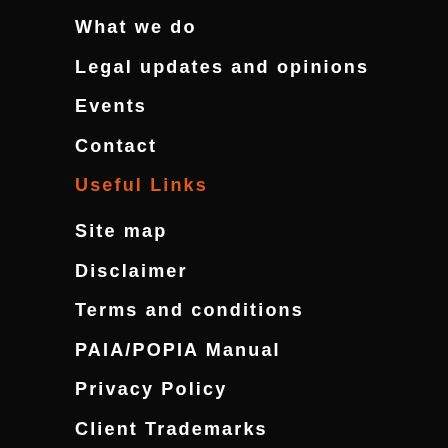What we do
Legal updates and opinions
Events
Contact
Useful Links
Site map
Disclaimer
Terms and conditions
PAIA/POPIA Manual
Privacy Policy
Client Trademarks